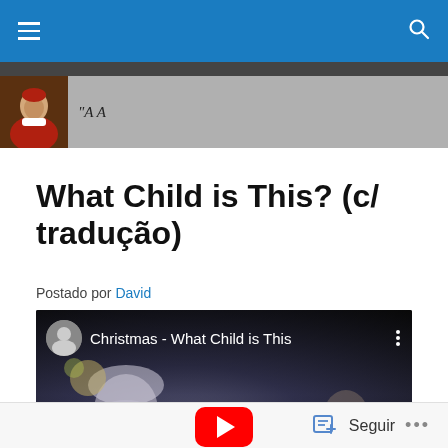Navigation bar with hamburger menu and search icon
[Figure (screenshot): Site header with avatar image of a historical figure in red robes and partial italic text starting with 'A']
What Child is This? (c/ tradução)
Postado por David
[Figure (screenshot): YouTube video thumbnail for 'Christmas - What Child is This' showing a religious/nativity scene with a woman in white veil, dark background, red YouTube play button centered]
Seguir ...